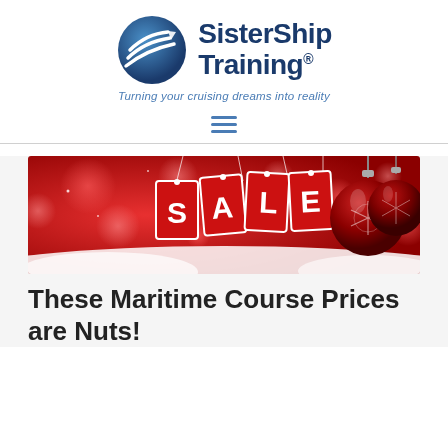[Figure (logo): SisterShip Training logo with globe icon and tagline 'Turning your cruising dreams into reality']
[Figure (screenshot): Red Christmas sale banner with hanging SALE tags and decorative red baubles on a red bokeh background]
These Maritime Course Prices are Nuts!